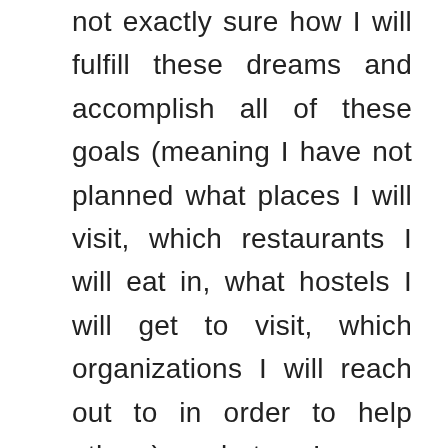not exactly sure how I will fulfill these dreams and accomplish all of these goals (meaning I have not planned what places I will visit, which restaurants I will eat in, what hostels I will get to visit, which organizations I will reach out to in order to help others), but I am dedicated to making this experience one of the most empowering experiences that I have ever had the opportunity to dream of, let alone live.

Stay tuned. I will be posting pictures once I get acclimated and settled. How are